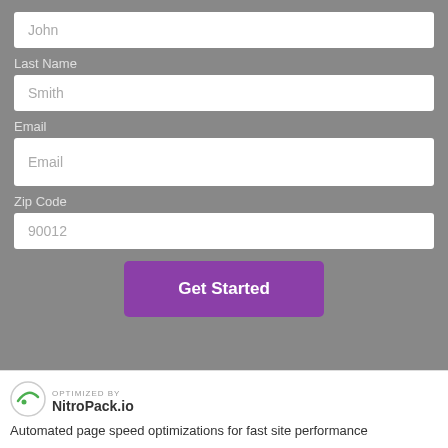[Figure (screenshot): Web form with fields: First Name (placeholder 'John'), Last Name (placeholder 'Smith'), Email (placeholder 'Email'), Zip Code (placeholder '90012'), and a purple 'Get Started' button. Gray background.]
OPTIMIZED BY NitroPack.io
Automated page speed optimizations for fast site performance